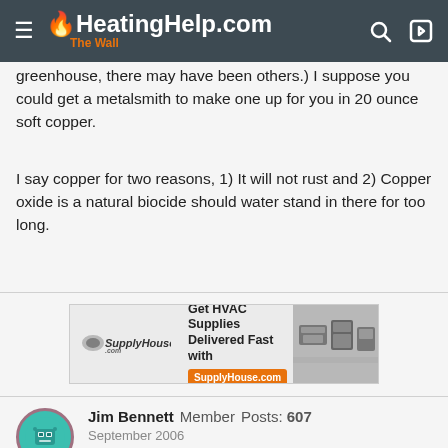HeatingHelp.com The Wall
greenhouse, there may have been others.) I suppose you could get a metalsmith to make one up for you in 20 ounce soft copper.
I say copper for two reasons, 1) It will not rust and 2) Copper oxide is a natural biocide should water stand in there for too long.
[Figure (screenshot): SupplyHouse.com advertisement: Get HVAC Supplies Delivered Fast with SupplyHouse.com, showing HVAC equipment images]
Jim Bennett   Member   Posts: 607   September 2006